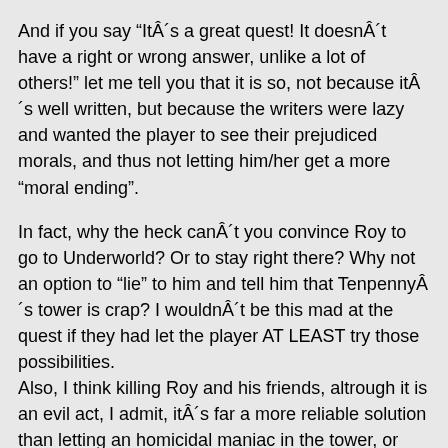And if you say “ItÂ´s a great quest! It doesnÂ´t have a right or wrong answer, unlike a lot of others!” let me tell you that it is so, not because itÂ´s well written, but because the writers were lazy and wanted the player to see their prejudiced morals, and thus not letting him/her get a more “moral ending”.
In fact, why the heck canÂ´t you convince Roy to go to Underworld? Or to stay right there? Why not an option to “lie” to him and tell him that TenpennyÂ´s tower is crap? I wouldnÂ´t be this mad at the quest if they had let the player AT LEAST try those possibilities.
Also, I think killing Roy and his friends, altrough it is an evil act, I admit, itÂ´s far a more reliable solution than letting an homicidal maniac in the tower, or than killing a whole tower full of people. Walking out and letting him alone and not complete the quest is a tricky option: even if Roy canÂ´t get inside the tower, he may be able to ambush and murder